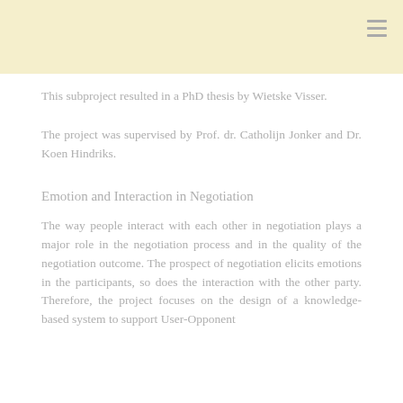This subproject resulted in a PhD thesis by Wietske Visser.
The project was supervised by Prof. dr. Catholijn Jonker and Dr. Koen Hindriks.
Emotion and Interaction in Negotiation
The way people interact with each other in negotiation plays a major role in the negotiation process and in the quality of the negotiation outcome. The prospect of negotiation elicits emotions in the participants, so does the interaction with the other party. Therefore, the project focuses on the design of a knowledge-based system to support User-Opponent